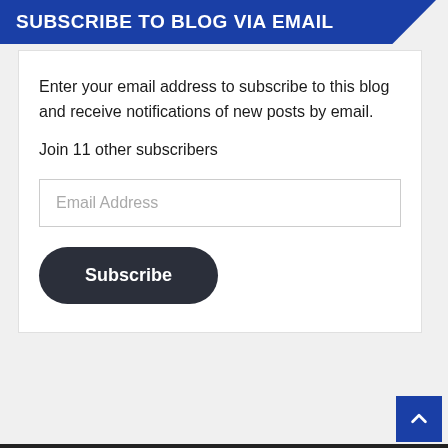SUBSCRIBE TO BLOG VIA EMAIL
Enter your email address to subscribe to this blog and receive notifications of new posts by email.
Join 11 other subscribers
Email Address
Subscribe